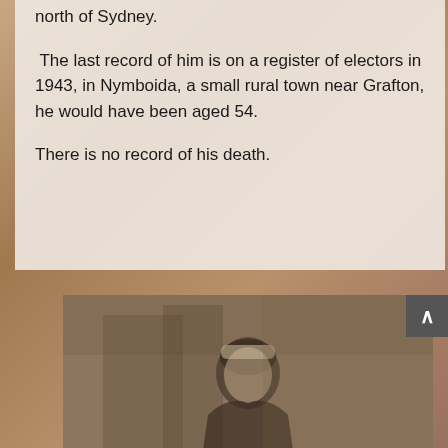north of Sydney.
The last record of him is on a register of electors in 1943, in Nymboida, a small rural town near Grafton, he would have been aged 54.
There is no record of his death.
[Figure (photo): Old sepia-toned photograph of a man, partially visible, with dark hair, set against a mottled brown background.]